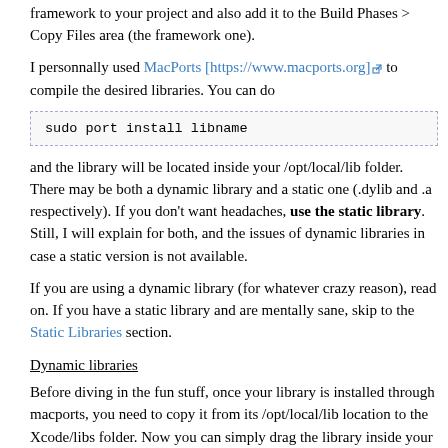framework to your project and also add it to the Build Phases > Copy Files area (the framework one).
I personnally used MacPorts [https://www.macports.org] to compile the desired libraries. You can do
sudo port install libname
and the library will be located inside your /opt/local/lib folder. There may be both a dynamic library and a static one (.dylib and .a respectively). If you don't want headaches, use the static library. Still, I will explain for both, and the issues of dynamic libraries in case a static version is not available.
If you are using a dynamic library (for whatever crazy reason), read on. If you have a static library and are mentally sane, skip to the Static Libraries section.
Dynamic libraries
Before diving in the fun stuff, once your library is installed through macports, you need to copy it from its /opt/local/lib location to the Xcode/libs folder. Now you can simply drag the library inside your Xcode Project in the Frameworks section (you will see there are already many there). It should automatically be added to the Summary > Linked Libraries section and also the Build Phases > Link Binary With Libraries area. You will now have to add it to the Build Phases > Copy Files section